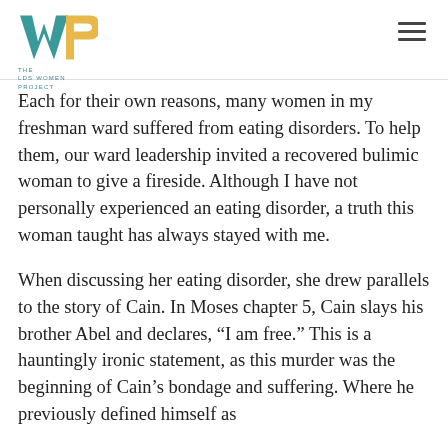THE LDS WOMEN PROJECT
Each for their own reasons, many women in my freshman ward suffered from eating disorders. To help them, our ward leadership invited a recovered bulimic woman to give a fireside. Although I have not personally experienced an eating disorder, a truth this woman taught has always stayed with me.
When discussing her eating disorder, she drew parallels to the story of Cain. In Moses chapter 5, Cain slays his brother Abel and declares, “I am free.” This is a hauntingly ironic statement, as this murder was the beginning of Cain’s bondage and suffering. Where he previously defined himself as